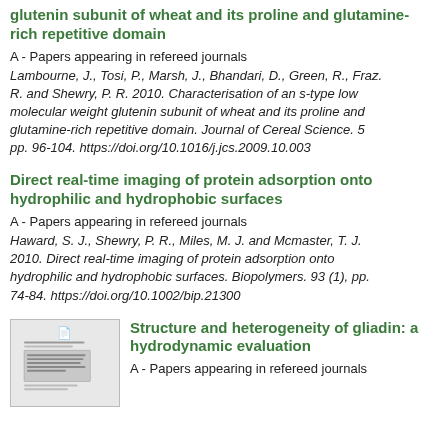glutenin subunit of wheat and its proline and glutamine-rich repetitive domain
A - Papers appearing in refereed journals
Lambourne, J., Tosi, P., Marsh, J., Bhandari, D., Green, R., Fraz. R. and Shewry, P. R. 2010. Characterisation of an s-type low molecular weight glutenin subunit of wheat and its proline and glutamine-rich repetitive domain. Journal of Cereal Science. 5 pp. 96-104. https://doi.org/10.1016/j.jcs.2009.10.003
Direct real-time imaging of protein adsorption onto hydrophilic and hydrophobic surfaces
A - Papers appearing in refereed journals
Haward, S. J., Shewry, P. R., Miles, M. J. and Mcmaster, T. J. 2010. Direct real-time imaging of protein adsorption onto hydrophilic and hydrophobic surfaces. Biopolymers. 93 (1), pp. 74-84. https://doi.org/10.1002/bip.21300
[Figure (screenshot): Thumbnail preview of a document page]
Structure and heterogeneity of gliadin: a hydrodynamic evaluation
A - Papers appearing in refereed journals